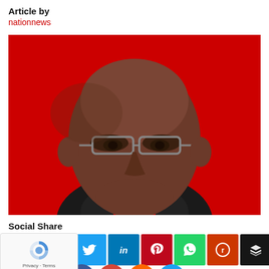Article by
nationnews
[Figure (photo): Headshot portrait of a man wearing glasses, against a red background. The man appears to be middle-aged, dark-skinned, wearing a dark jacket. He is looking directly at the camera with a slight smile.]
Social Share
[Figure (infographic): Row of social media share buttons: Google+, Twitter, LinkedIn, Pinterest, WhatsApp, Reddit, Buffer. Plus a reCAPTCHA widget overlay at the left.]